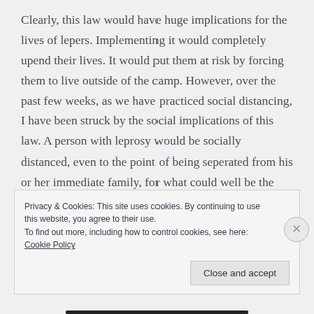Clearly, this law would have huge implications for the lives of lepers. Implementing it would completely upend their lives. It would put them at risk by forcing them to live outside of the camp. However, over the past few weeks, as we have practiced social distancing, I have been struck by the social implications of this law. A person with leprosy would be socially distanced, even to the point of being seperated from his or her immediate family, for what could well be the rest of their life. That would be the worst part of leprosy.
Privacy & Cookies: This site uses cookies. By continuing to use this website, you agree to their use. To find out more, including how to control cookies, see here: Cookie Policy
Close and accept